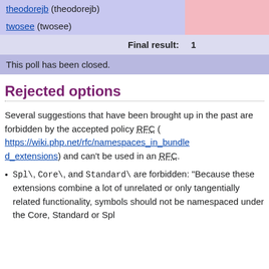| User | Vote |
| --- | --- |
| theodorejb (theodorejb) |  |
| twosee (twosee) |  |
| Final result: | 1 |
| This poll has been closed. |  |
Rejected options
Several suggestions that have been brought up in the past are forbidden by the accepted policy RFC (https://wiki.php.net/rfc/namespaces_in_bundled_extensions) and can't be used in an RFC.
Spl\, Core\, and Standard\ are forbidden: "Because these extensions combine a lot of unrelated or only tangentially related functionality, symbols should not be namespaced under the Core, Standard or Spl